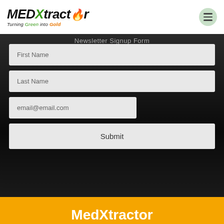[Figure (logo): MEDXtractor logo with flame drop icon and tagline 'Turning Green into Gold']
Newsletter Signup Form
First Name
Last Name
email@email.com
Submit
MedXtractor